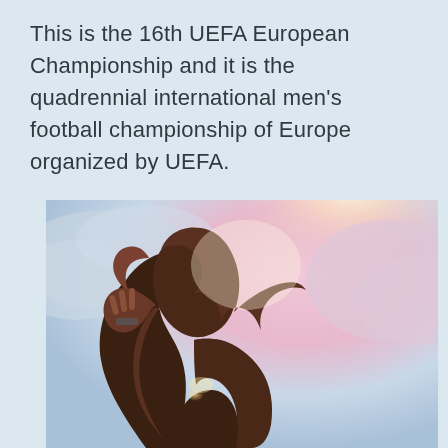This is the 16th UEFA European Championship and it is the quadrennial international men's football championship of Europe organized by UEFA.
[Figure (photo): A woman with long hair holding her hands up near her head, backlit by bright sunlight with a soft pinkish-purple sky and clouds in the background. She appears to be outdoors, with a lens flare visible.]